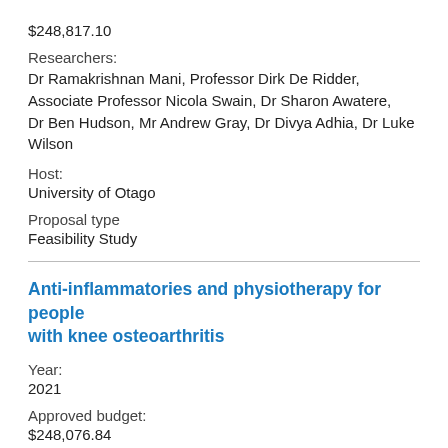$248,817.10
Researchers:
Dr Ramakrishnan Mani, Professor Dirk De Ridder, Associate Professor Nicola Swain, Dr Sharon Awatere, Dr Ben Hudson, Mr Andrew Gray, Dr Divya Adhia, Dr Luke Wilson
Host:
University of Otago
Proposal type
Feasibility Study
Anti-inflammatories and physiotherapy for people with knee osteoarthritis
Year:
2021
Approved budget:
$248,076.84